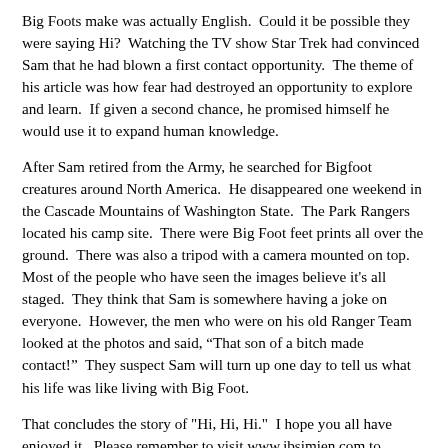Big Foots make was actually English.  Could it be possible they were saying Hi?  Watching the TV show Star Trek had convinced Sam that he had blown a first contact opportunity.  The theme of his article was how fear had destroyed an opportunity to explore and learn.  If given a second chance, he promised himself he would use it to expand human knowledge.
After Sam retired from the Army, he searched for Bigfoot creatures around North America.  He disappeared one weekend in the Cascade Mountains of Washington State.  The Park Rangers located his camp site.  There were Big Foot feet prints all over the ground.  There was also a tripod with a camera mounted on top.  Most of the people who have seen the images believe it's all staged.  They think that Sam is somewhere having a joke on everyone.  However, the men who were on his old Ranger Team looked at the photos and said, “That son of a bitch made contact!”  They suspect Sam will turn up one day to tell us what his life was like living with Big Foot.
That concludes the story of "Hi, Hi, Hi."  I hope you all have enjoyed it.  Please remember to visit www.jbsimien.com to download this and other Audio Stories for later consumption.  Please don't forget to show your support for the show by purchasing a copy of my latest book Paranormal Mystery at